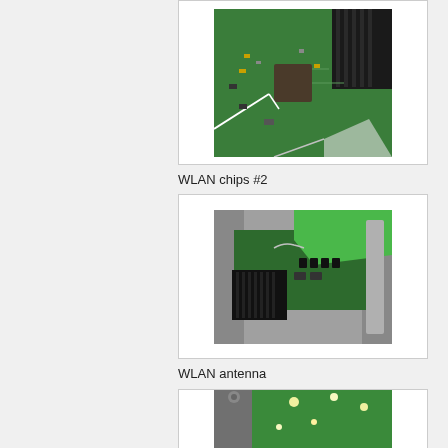[Figure (photo): Close-up photo of a green PCB circuit board with WLAN chips, showing electronic components and a dark heat sink in the upper right corner.]
WLAN chips #2
[Figure (photo): Photo of a WLAN antenna area on a circuit board showing green PCB with components, a heat sink, and a metallic enclosure edge.]
WLAN antenna
[Figure (photo): Partial photo of a green PCB circuit board with bright solder points visible, partially cropped at bottom of page.]